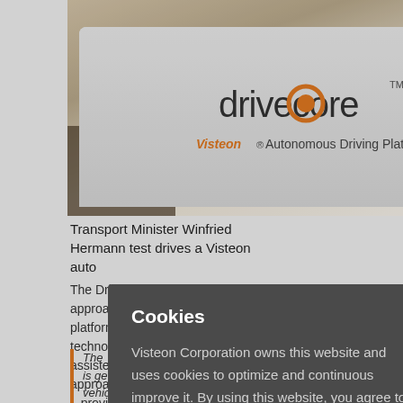[Figure (photo): Photo of a white car door with the DriveCore by Visteon branding — 'drivecore' logo with orange circle for the 'o', and 'Visteon Autonomous Driving Platform' subtitle]
Transport Minister Winfried Hermann test drives a Visteon auto...
The DriveCo... approach ba... platform tha... technology s... assisted and... approach is c... – providing ... offerings.
The ... is ge... vehicles can no longer be processed by conventional means. With DriveCore™
Cookies

Visteon Corporation owns this website and uses cookies to optimize and continuous improve it. By using this website, you agree to the usage of cookies. Further details can be found in our Privacy Policy

Close